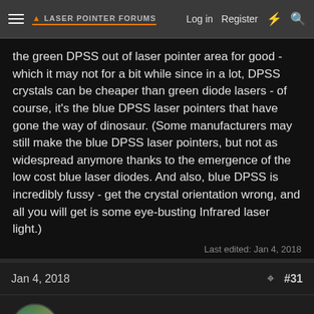Laser Pointer Forums — Log in  Register
the green DPSS out of laser pointer area for good - which it may not for a bit while since in a lot, DPSS crystals can be cheaper than green diode lasers - of course, it's the blue DPSS laser pointers that have gone the way of dinosaur. (Some manufacturers may still make the blue DPSS laser pointers, but not as widespread anymore thanks to the emergence of the low cost blue laser diodes. And also, blue DPSS is incredibly fussy - get the crystal orientation wrong, and all you will get is some eye-busting Infrared laser light.)
Last edited: Jan 4, 2018
Jan 4, 2018
#31
paul1598419
Well-known member
Singlemode Laser said: